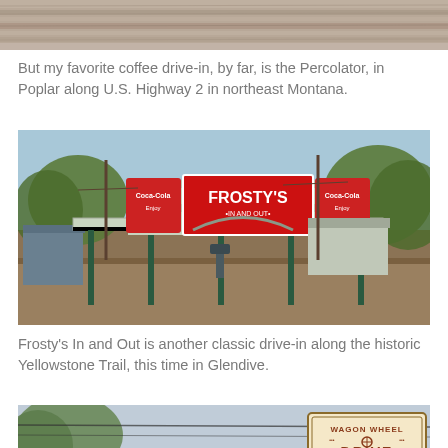[Figure (photo): Partial top view of a dirt road or field, cropped at the top of the page]
But my favorite coffee drive-in, by far, is the Percolator, in Poplar along U.S. Highway 2 in northeast Montana.
[Figure (photo): Frosty's In and Out drive-in restaurant in Glendive, with green canopy structure, Coca-Cola signs flanking a large red and white Frosty's In and Out sign, set against trees and blue sky]
Frosty's In and Out is another classic drive-in along the historic Yellowstone Trail, this time in Glendive.
[Figure (photo): Partial view of a Wagon Wheel Drive sign, cropped at the bottom of the page]